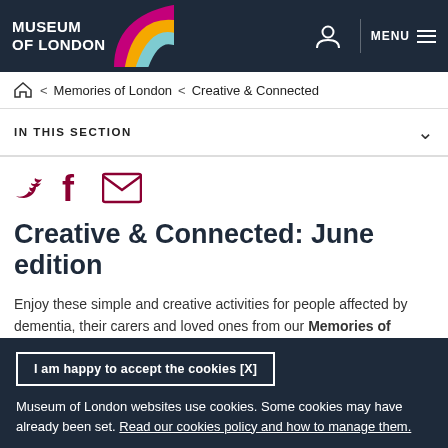MUSEUM OF LONDON
🏠 < Memories of London < Creative & Connected
IN THIS SECTION
[Figure (infographic): Social media icons: Twitter bird, Facebook f, email envelope — all in dark red/crimson color]
Creative & Connected: June edition
Enjoy these simple and creative activities for people affected by dementia, their carers and loved ones from our Memories of London team. This month: how to celebrate
I am happy to accept the cookies [X]
Museum of London websites use cookies. Some cookies may have already been set. Read our cookies policy and how to manage them.